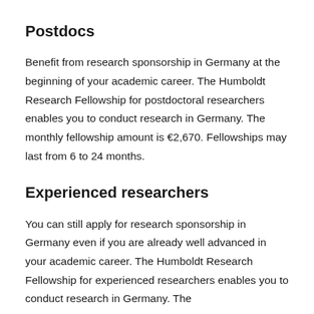Postdocs
Benefit from research sponsorship in Germany at the beginning of your academic career. The Humboldt Research Fellowship for postdoctoral researchers enables you to conduct research in Germany. The monthly fellowship amount is €2,670. Fellowships may last from 6 to 24 months.
Experienced researchers
You can still apply for research sponsorship in Germany even if you are already well advanced in your academic career. The Humboldt Research Fellowship for experienced researchers enables you to conduct research in Germany. The